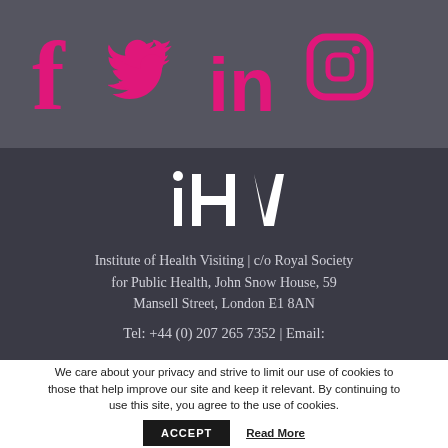[Figure (logo): Social media icons: Facebook, Twitter, LinkedIn, Instagram in pink on dark grey background]
[Figure (logo): IHV logo in white on dark background]
Institute of Health Visiting | c/o Royal Society for Public Health, John Snow House, 59 Mansell Street, London E1 8AN
Tel: +44 (0) 207 265 7352 | Email:
We care about your privacy and strive to limit our use of cookies to those that help improve our site and keep it relevant. By continuing to use this site, you agree to the use of cookies.
ACCEPT
Read More